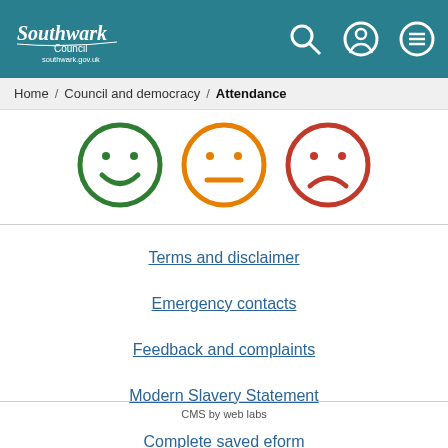Southwark Council southwark.gov.uk
Home / Council and democracy / Attendance
[Figure (illustration): Three emoji faces: green smiley (happy), orange neutral, and red sad/frowning face, indicating attendance status icons]
Terms and disclaimer
Emergency contacts
Feedback and complaints
Modern Slavery Statement
Complete saved eform
CMS by web labs